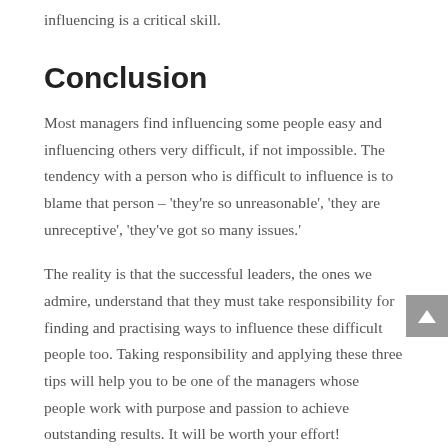influencing is a critical skill.
Conclusion
Most managers find influencing some people easy and influencing others very difficult, if not impossible. The tendency with a person who is difficult to influence is to blame that person – 'they're so unreasonable', 'they are unreceptive', 'they've got so many issues.'
The reality is that the successful leaders, the ones we admire, understand that they must take responsibility for finding and practising ways to influence these difficult people too. Taking responsibility and applying these three tips will help you to be one of the managers whose people work with purpose and passion to achieve outstanding results. It will be worth your effort!
Tell me in the comments below, which of these tips do